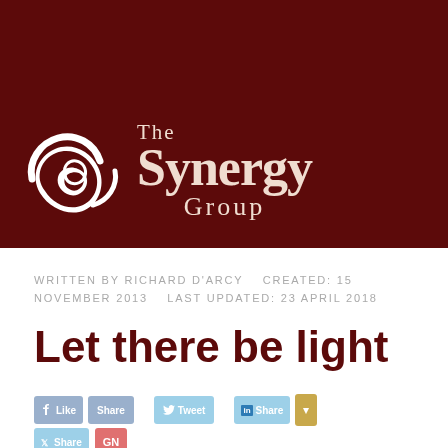[Figure (logo): The Synergy Group logo: white swirl/spiral icon on dark red background with text 'The Synergy Group' in cream/white serif font]
WRITTEN BY RICHARD D'ARCY   CREATED: 15 NOVEMBER 2013   LAST UPDATED: 23 APRIL 2018
Let there be light
[Figure (other): Social sharing buttons: Facebook Like, Share, Tweet, LinkedIn Share, gold dropdown button, X Share, and Google News button]